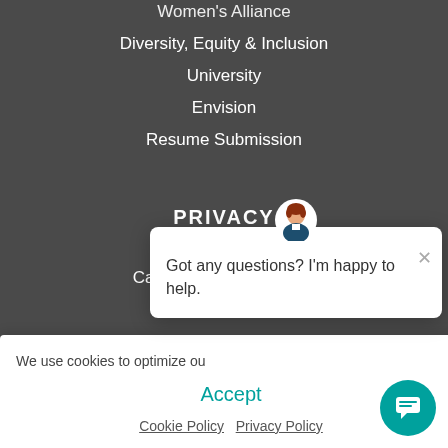Women's Alliance
Diversity, Equity & Inclusion
University
Envision
Resume Submission
PRIVACY
Privacy Policy
California Privacy Policy
Coo...
We use cookies to optimize ou...
Accept
Cookie Policy   Privacy Policy
[Figure (illustration): Chat assistant popup with avatar, close button, and message: Got any questions? I'm happy to help.]
[Figure (illustration): Teal circular chat button in bottom right corner]